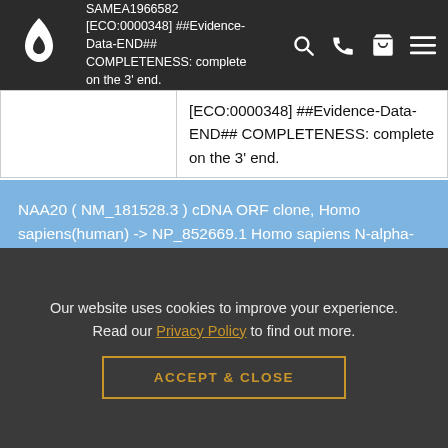SAMEA1966582 [ECO:0000348] ##Evidence-Data-END## COMPLETENESS: complete on the 3' end.
NAA20 ( NM_181528.3 ) cDNA ORF clone, Homo sapiens(human) -> NP_852669.1 Homo sapiens N-alpha-acetyltransferase 20, NatB catalytic subunit (NAA20), transcript variant 3, mRNA.
| CloneID |  |
| --- | --- |
| CloneID | OHu07579 |
Our website uses cookies to improve your experience. Read our Privacy Policy to find out more.
ACCEPT & CLOSE